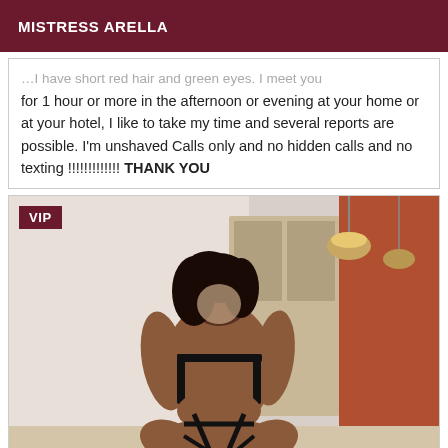MISTRESS ARELLA
...I have short red hair and green eyes. I meet you for 1 hour or more in the afternoon or evening at your home or at your hotel, I like to take my time and several reports are possible. I'm unshaved Calls only and no hidden calls and no texting !!!!!!!!!!!!! THANK YOU
[Figure (photo): Woman in black lingerie kneeling with back to camera in an indoor setting. VIP badge in top left corner.]